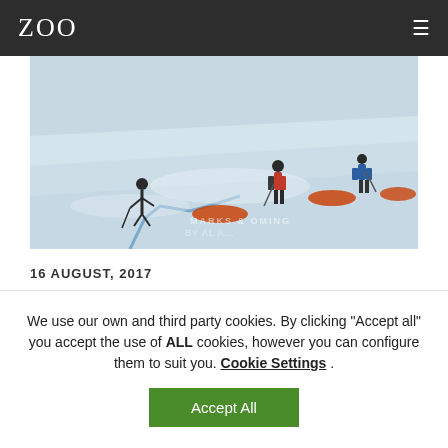ZOO
[Figure (photo): People trekking on a glacier landscape pulling orange sleds, wearing winter gear. Watermark text partially visible on the ice.]
16 AUGUST, 2017
We use our own and third party cookies. By clicking "Accept all" you accept the use of ALL cookies, however you can configure them to suit you. Cookie Settings . Accept All